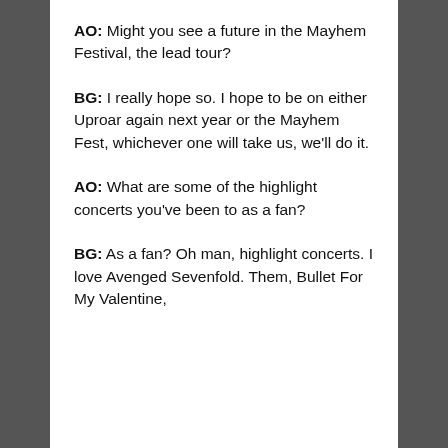AO: Might you see a future in the Mayhem Festival, the lead tour?
BG: I really hope so. I hope to be on either Uproar again next year or the Mayhem Fest, whichever one will take us, we'll do it.
AO: What are some of the highlight concerts you've been to as a fan?
BG: As a fan? Oh man, highlight concerts. I love Avenged Sevenfold. Them, Bullet For My Valentine,